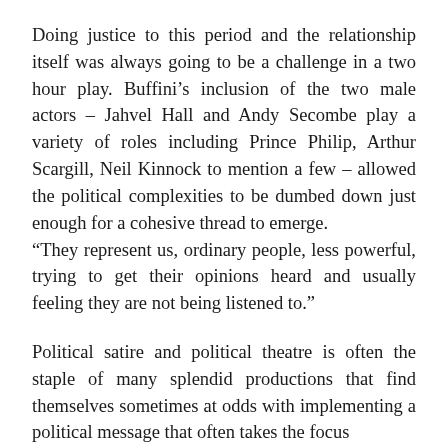Doing justice to this period and the relationship itself was always going to be a challenge in a two hour play. Buffini’s inclusion of the two male actors – Jahvel Hall and Andy Secombe play a variety of roles including Prince Philip, Arthur Scargill, Neil Kinnock to mention a few – allowed the political complexities to be dumbed down just enough for a cohesive thread to emerge. “They represent us, ordinary people, less powerful, trying to get their opinions heard and usually feeling they are not being listened to.”
Political satire and political theatre is often the staple of many splendid productions that find themselves sometimes at odds with implementing a political message that often takes the focus